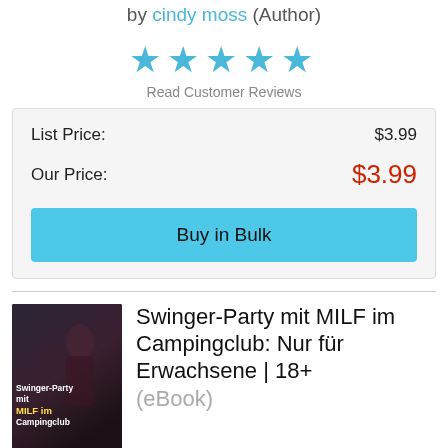by cindy moss (Author)
[Figure (other): Five filled cyan/blue star rating icons]
Read Customer Reviews
| List Price: | $3.99 |
| Our Price: | $3.99 |
Buy in Bulk
[Figure (photo): Book cover for 'Swinger-Party mit MILF im Campingclub' with dark background and yellow title text]
Swinger-Party mit MILF im Campingclub: Nur für Erwachsene | 18+
(eBook)